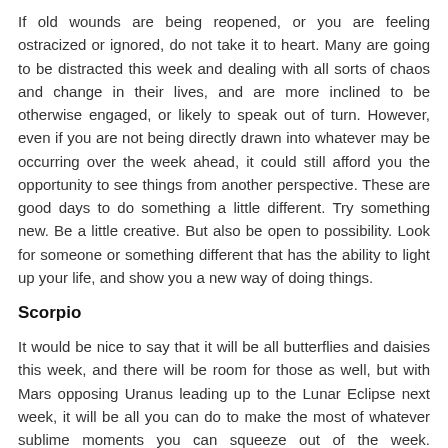If old wounds are being reopened, or you are feeling ostracized or ignored, do not take it to heart. Many are going to be distracted this week and dealing with all sorts of chaos and change in their lives, and are more inclined to be otherwise engaged, or likely to speak out of turn. However, even if you are not being directly drawn into whatever may be occurring over the week ahead, it could still afford you the opportunity to see things from another perspective. These are good days to do something a little different. Try something new. Be a little creative. But also be open to possibility. Look for someone or something different that has the ability to light up your life, and show you a new way of doing things.
Scorpio
It would be nice to say that it will be all butterflies and daisies this week, and there will be room for those as well, but with Mars opposing Uranus leading up to the Lunar Eclipse next week, it will be all you can do to make the most of whatever sublime moments you can squeeze out of the week. Mars/Uranus energy is electric, charged, and very unpredictable. It can be great if you've been feeling stuck, for it will motivate you to get moving, or to try new things, or go